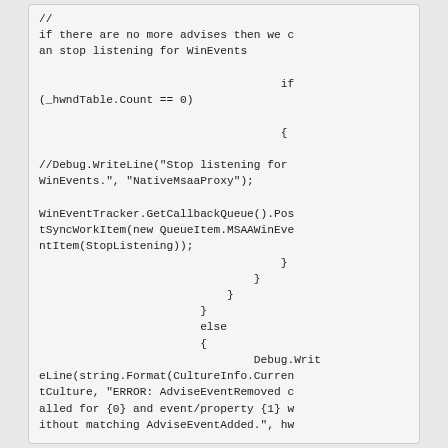// if there are no more advises then we can stop listening for WinEvents
                                    if (_hwndTable.Count == 0)
                                    {

//Debug.WriteLine("Stop listening for WinEvents.", "NativeMsaaProxy");

WinEventTracker.GetCallbackQueue().PostSyncWorkItem(new QueueItem.MSAAWinEventItem(StopListening));
                                    }
                                }
                            }
                        }
                        else
                        {
                                Debug.WriteLine(string.Format(CultureInfo.CurrentCulture, "ERROR: AdviseEventRemoved called for {0} and event/property {1} without matching AdviseEventAdded.", hw